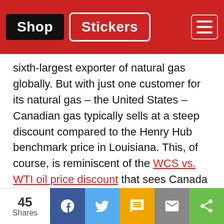Shop | Stickers
sixth-largest exporter of natural gas globally. But with just one customer for its natural gas – the United States – Canadian gas typically sells at a steep discount compared to the Henry Hub benchmark price in Louisiana. This, of course, is reminiscent of the WCS vs. WTI oil price discount that sees Canada lose tens of billions of dollars in revenues each year.
The problem with Canada's "one customer" business model is that the US doesn't need as much of our gas, not ever since new tech helped it tap into its shale gas reserves about a decade ago.
45 Shares — Facebook, Twitter, SMS, Mail, Share